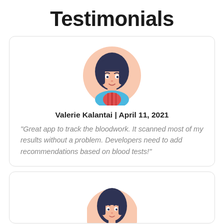Testimonials
[Figure (illustration): Cartoon avatar of a woman with dark hair, wearing a blue jacket and red striped top, on a pink/peach circular background]
Valerie Kalantai | April 11, 2021
"Great app to track the bloodwork. It scanned most of my results without a problem. Developers need to add recommendations based on blood tests!"
[Figure (illustration): Cartoon avatar of a woman with dark hair and bangs, partially visible, on a pink/peach circular background]